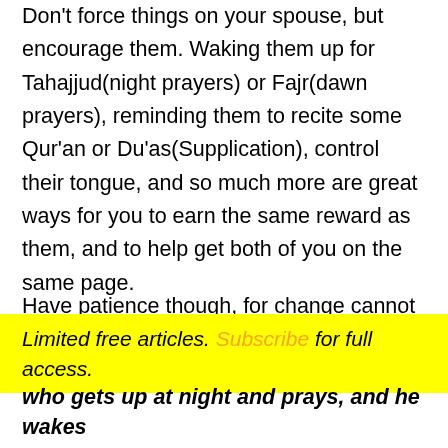Don't force things on your spouse, but encourage them. Waking them up for Tahajjud(night prayers) or Fajr(dawn prayers), reminding them to recite some Qur'an or Du'as(Supplication), control their tongue, and so much more are great ways for you to earn the same reward as them, and to help get both of you on the same page.
Have patience though, for change cannot be made overnight. Gentle reminders and lots of Du'a is the
Limited free articles. Subscribe for full access.
who gets up at night and prays, and he wakes